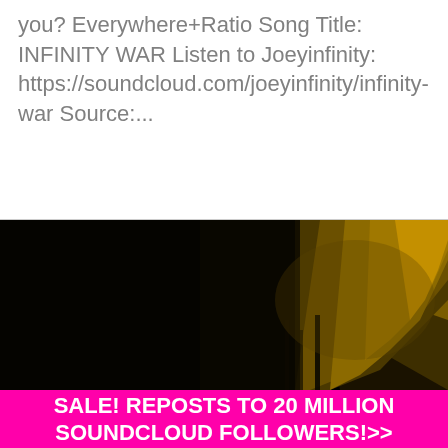you? Everywhere+Ratio Song Title: INFINITY WAR Listen to Joeyinfinity: https://soundcloud.com/joeyinfinity/infinity-war Source:...
[Figure (photo): Dark, moody photo with mostly black background and a partially illuminated figure or shape on the right side with a warm yellowish-brown tone, surrounded by darkness.]
SALE! REPOSTS TO 20 MILLION SOUNDCLOUD FOLLOWERS!>>